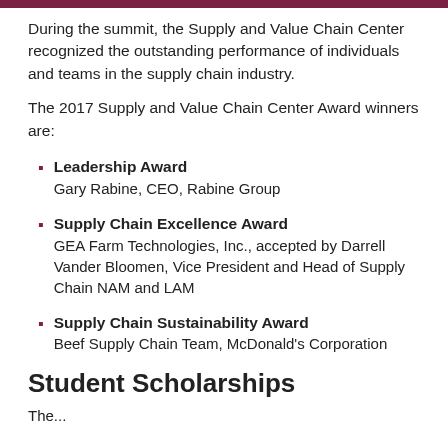During the summit, the Supply and Value Chain Center recognized the outstanding performance of individuals and teams in the supply chain industry.
The 2017 Supply and Value Chain Center Award winners are:
Leadership Award
Gary Rabine, CEO, Rabine Group
Supply Chain Excellence Award
GEA Farm Technologies, Inc., accepted by Darrell Vander Bloomen, Vice President and Head of Supply Chain NAM and LAM
Supply Chain Sustainability Award
Beef Supply Chain Team, McDonald's Corporation
Student Scholarships
The...